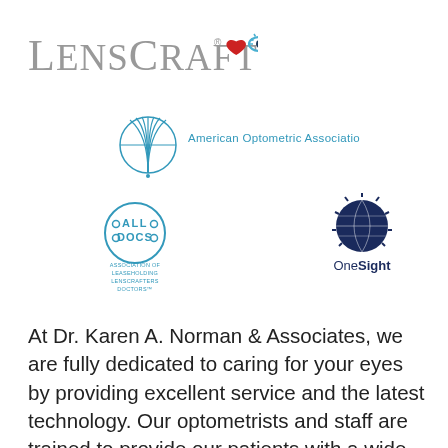[Figure (logo): LensCrafters logo with red heart icon and blue eye icon]
[Figure (logo): American Optometric Association logo with blue globe/sphere icon and text]
[Figure (logo): ALL DOCS Association of Leaseholding LensCrafters Doctors logo with circular badge]
[Figure (logo): OneSight logo with globe and sunburst icon]
At Dr. Karen A. Norman & Associates, we are fully dedicated to caring for your eyes by providing excellent service and the latest technology. Our optometrists and staff are trained to provide our patients with a wide variety of eye care including comprehensive